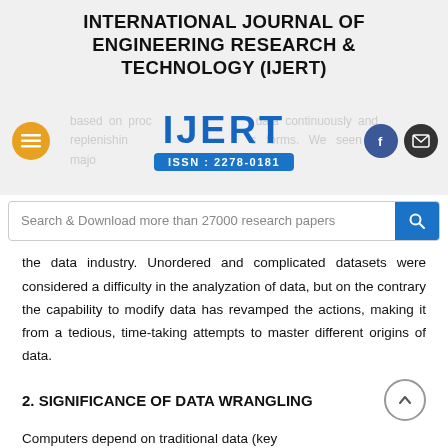INTERNATIONAL JOURNAL OF ENGINEERING RESEARCH & TECHNOLOGY (IJERT)
[Figure (logo): IJERT logo with ISSN: 2278-0181, with navigation icons (hamburger menu, Facebook, email), and faded background text about processing data continuously and replenishing forms, with major changes in a few years]
[Figure (screenshot): Search bar: Search & Download more than 27000 research papers]
the data industry. Unordered and complicated datasets were considered a difficulty in the analyzation of data, but on the contrary the capability to modify data has revamped the actions, making it from a tedious, time-taking attempts to master different origins of data.
2. SIGNIFICANCE OF DATA WRANGLING
Computers depend on traditional data (key